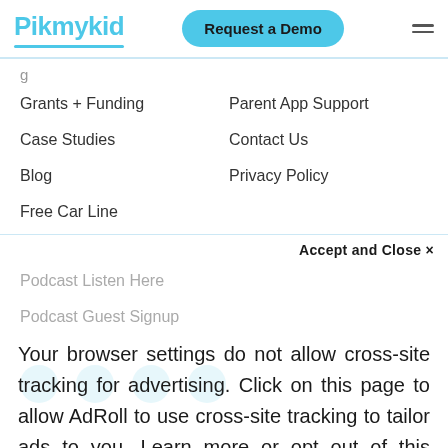Pikmykid | Request a Demo
Grants + Funding
Parent App Support
Case Studies
Contact Us
Blog
Privacy Policy
Free Car Line
Podcast Listen Here
Podcast Guest Signup
Accept and Close ×
Your browser settings do not allow cross-site tracking for advertising. Click on this page to allow AdRoll to use cross-site tracking to tailor ads to you. Learn more or opt out of this AdRoll tracking by clicking here. This message only appears once.